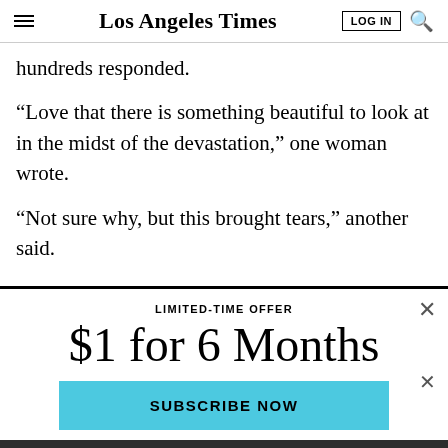Los Angeles Times
hundreds responded.
“Love that there is something beautiful to look at in the midst of the devastation,” one woman wrote.
“Not sure why, but this brought tears,” another said.
LIMITED-TIME OFFER
$1 for 6 Months
SUBSCRIBE NOW
By continuing to use our site, you agree to our Terms of Service and Privacy Policy. You can learn more about how we use cookies by reviewing our Privacy Policy. Close